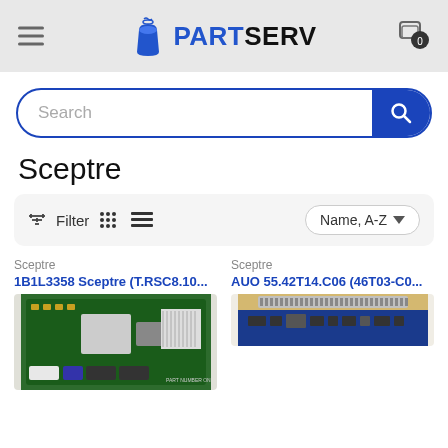[Figure (screenshot): PartServ website header with hamburger menu, logo, and cart icon]
Search
Sceptre
Filter  Name, A-Z
Sceptre
1B1L3358 Sceptre (T.RSC8.10...
[Figure (photo): PCB circuit board photo for product 1B1L3358 Sceptre]
Sceptre
AUO 55.42T14.C06 (46T03-C0...
[Figure (photo): Circuit board photo for AUO 55.42T14.C06 product]